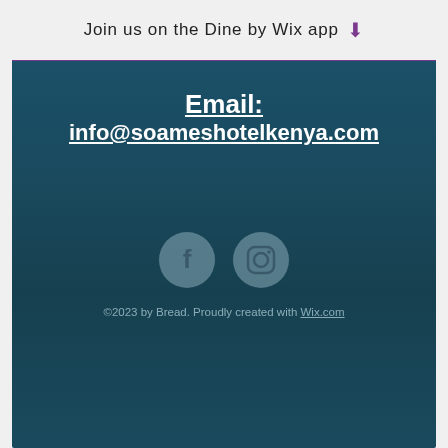Join us on the Dine by Wix app ⬇
Email: info@soameshotelkenya.com
[Figure (illustration): Facebook and Instagram social media icon buttons rendered as grey circular icons on dark teal background]
©2023 by Bread. Proudly created with Wix.com